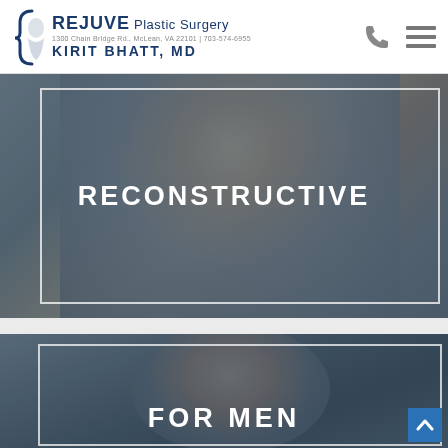REJUVE Plastic Surgery | Kirit Bhatt, MD | 1300 Chain Bridge Rd., McLean, VA 22101 | 703-574-6955
[Figure (photo): Reconstructive surgery section banner with woman smiling, overlaid with dark blue tint and white border frame. Text reads RECONSTRUCTIVE.]
[Figure (photo): For Men surgery section banner with close-up of man's face, overlaid with dark blue tint and white border frame. Text reads FOR MEN.]